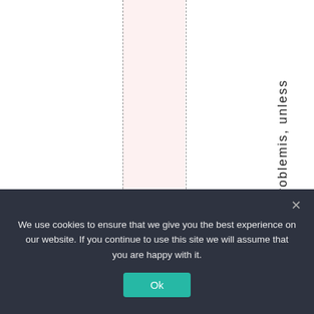[Figure (other): A table or chart layout with two vertical dashed lines and a pink/light-red highlighted column in the center. The right side shows vertical text reading 't. Problemis, unless' rotated 90 degrees.]
We use cookies to ensure that we give you the best experience on our website. If you continue to use this site we will assume that you are happy with it.